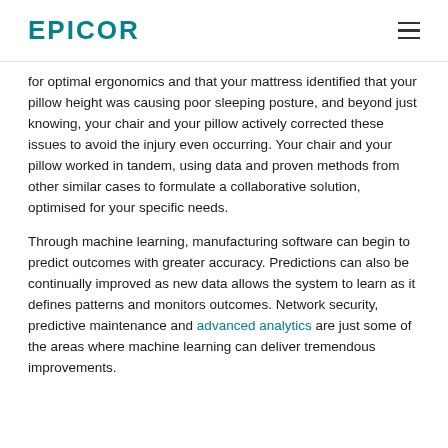EPICOR
for optimal ergonomics and that your mattress identified that your pillow height was causing poor sleeping posture, and beyond just knowing, your chair and your pillow actively corrected these issues to avoid the injury even occurring. Your chair and your pillow worked in tandem, using data and proven methods from other similar cases to formulate a collaborative solution, optimised for your specific needs.
Through machine learning, manufacturing software can begin to predict outcomes with greater accuracy. Predictions can also be continually improved as new data allows the system to learn as it defines patterns and monitors outcomes. Network security, predictive maintenance and advanced analytics are just some of the areas where machine learning can deliver tremendous improvements.